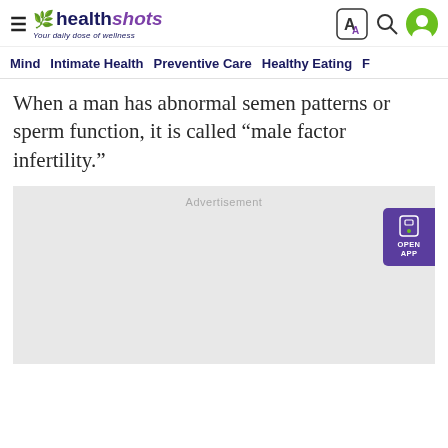healthshots — Your daily dose of wellness
Mind | Intimate Health | Preventive Care | Healthy Eating | F
When a man has abnormal semen patterns or sperm function, it is called “male factor infertility.”
[Figure (other): Advertisement placeholder block (gray box with Advertisement label)]